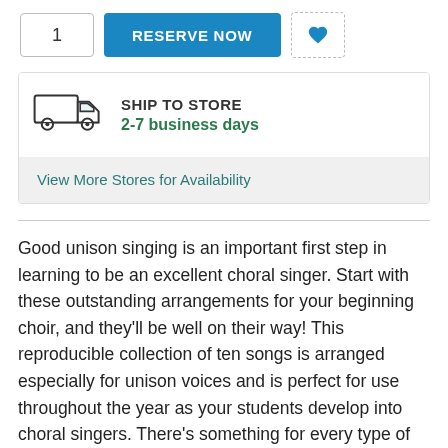1
RESERVE NOW
[Figure (illustration): Heart icon (favorite/wishlist button)]
[Figure (illustration): Delivery truck icon for ship to store section]
SHIP TO STORE
2-7 business days
View More Stores for Availability
Good unison singing is an important first step in learning to be an excellent choral singer. Start with these outstanding arrangements for your beginning choir, and they'll be well on their way! This reproducible collection of ten songs is arranged especially for unison voices and is perfect for use throughout the year as your students develop into choral singers. There's something for every type of concert with novelty, solfege, Latin